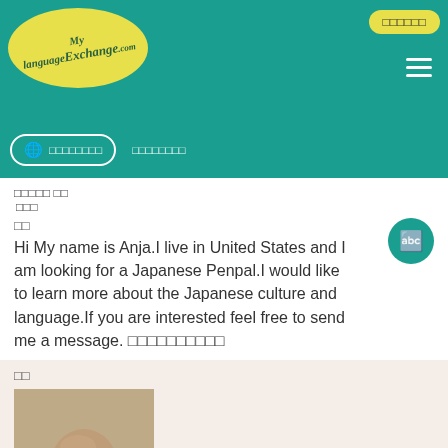[Figure (screenshot): MyLanguageExchange.com website header with teal background, yellow oval logo, login button, hamburger menu, language selector and navigation links]
□□□□□ □□
□□□
□□
Hi My name is Anja.I live in United States and I am looking for a Japanese Penpal.I would like to learn more about the Japanese culture and language.If you are interested feel free to send me a message. □□□□□□□□□□
□□
[Figure (photo): Sepia-toned portrait photo of a bald man in white shirt]
foreverStudent